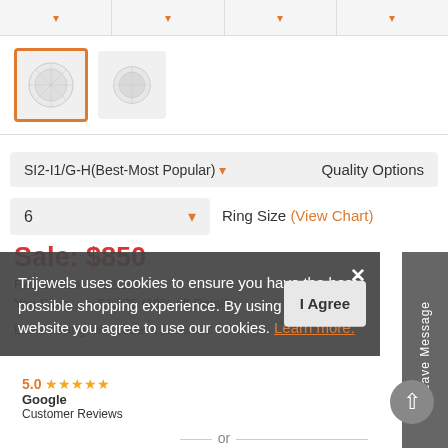[Figure (screenshot): Product page for a diamond ring on Trijewels e-commerce website, showing filter dropdowns, thumbnail images, quality/size options, pricing, and a cookie consent overlay with Google reviews badge.]
SI2-I1/G-H(Best-Most Popular) ▾   Quality Options
6 ▾   Ring Size (View Chart)
Sale: $850
Retail Price  :  $2,126
You Save  :  $1,275 (60% off Retail)
Extra saving with code: trijewels12
Trijewels uses cookies to ensure you have the best possible shopping experience. By using this website you agree to use our cookies. Learn more.
5.0 ★★★★★
Google
Customer Reviews